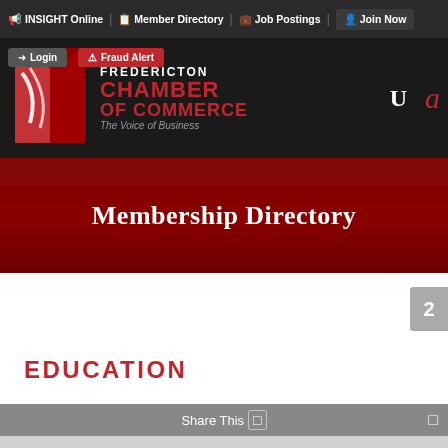INSIGHT Online | Member Directory | Job Postings | Join Now
[Figure (logo): Fredericton Chamber of Commerce logo with red book graphic and text 'FREDERICTON CHAMBER OF COMMERCE - The Voice of Business'. Login and Fraud Alert buttons overlaid.]
Membership Directory
EDUCATION
Share This